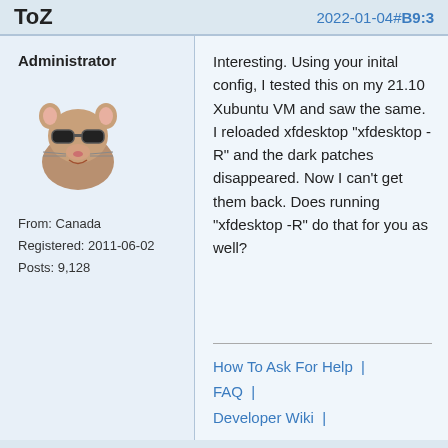ToZ
2022-01-04#B9:3
Administrator
[Figure (photo): Avatar image of a mouse wearing sunglasses]
From: Canada
Registered: 2011-06-02
Posts: 9,128
Interesting. Using your inital config, I tested this on my 21.10 Xubuntu VM and saw the same. I reloaded xfdesktop "xfdesktop -R" and the dark patches disappeared. Now I can't get them back. Does running "xfdesktop -R" do that for you as well?
How To Ask For Help  |  FAQ  |  Developer Wiki  |